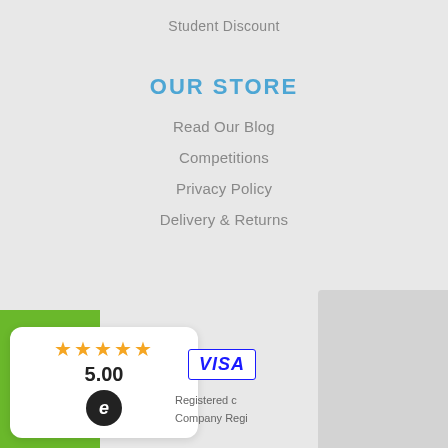Student Discount
OUR STORE
Read Our Blog
Competitions
Privacy Policy
Delivery & Returns
[Figure (screenshot): Cookie consent banner overlay with text: 'This site uses cookies to provide and improve your shopping experience. If you want to benefit from this improved service, please opt-in. Cookies Page.' with 'I opt-in to a better browsing experience' link and green ACCEPT COOKIES button. X close button in top right.]
[Figure (other): Rating widget showing 5 gold stars and score 5.00 with ecircle logo, Visa payment logo, and footer text 'Registered c...' and 'Company Regi...']